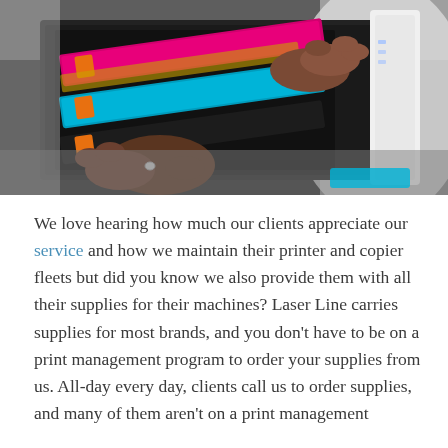[Figure (photo): A person's hands inserting or removing colorful toner cartridges (magenta/pink and cyan/blue) into a laser printer or copier. The cartridges are visible in a dark printer chassis. The person is wearing a white shirt.]
We love hearing how much our clients appreciate our service and how we maintain their printer and copier fleets but did you know we also provide them with all their supplies for their machines? Laser Line carries supplies for most brands, and you don't have to be on a print management program to order your supplies from us. All-day every day, clients call us to order supplies, and many of them aren't on a print management